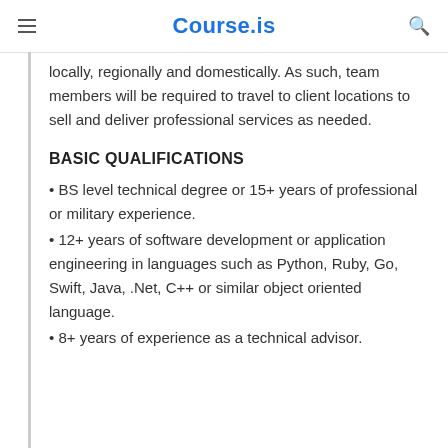Course.is
locally, regionally and domestically. As such, team members will be required to travel to client locations to sell and deliver professional services as needed.
BASIC QUALIFICATIONS
• BS level technical degree or 15+ years of professional or military experience.
• 12+ years of software development or application engineering in languages such as Python, Ruby, Go, Swift, Java, .Net, C++ or similar object oriented language.
• 8+ years of experience as a technical advisor.